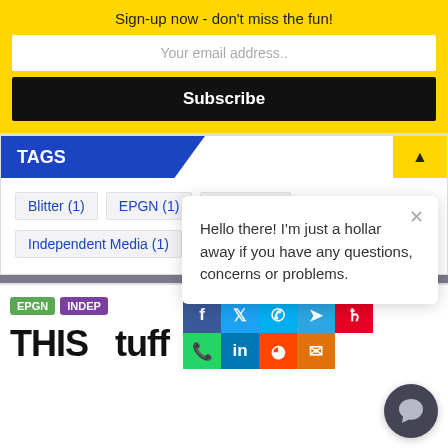Sign-up now - don't miss the fun!
Your email address..
Subscribe
TAGS
Blitter (1)
EPGN (1)
Ff9900 (1)
Independent Media (1)
Newsfeed (1)
RSS (1)
Hello there! I'm just a hollar away if you have any questions, concerns or problems.
EPGN   INDEP...
THIS...tuff